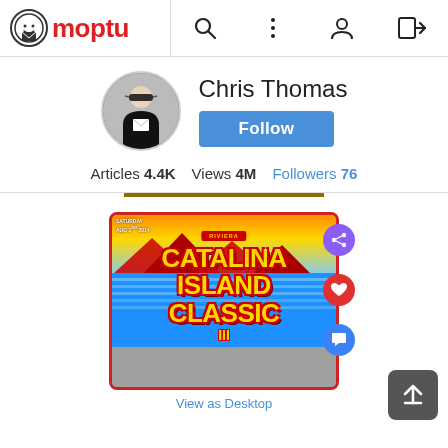Moptu
Chris Thomas
Follow
Articles 4.4K  Views 4M  Followers 76
[Figure (photo): Catalina Island Classic III event poster with retro surf/racing style. Text reads RIVIERA / CATALINA ISLAND CLASSIC III. Saturday Aug 2nd 2014. Yellow, red, blue color scheme.]
View as Desktop